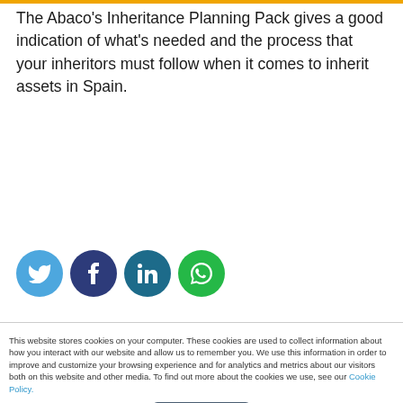The Abaco's Inheritance Planning Pack gives a good indication of what's needed and the process that your inheritors must follow when it comes to inherit assets in Spain.
[Figure (other): Social media share icons: Twitter (blue), Facebook (dark blue), LinkedIn (teal), WhatsApp (green)]
This website stores cookies on your computer. These cookies are used to collect information about how you interact with our website and allow us to remember you. We use this information in order to improve and customize your browsing experience and for analytics and metrics about our visitors both on this website and other media. To find out more about the cookies we use, see our Cookie Policy.
I accept